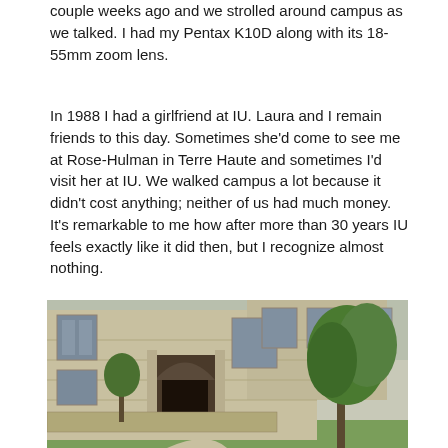couple weeks ago and we strolled around campus as we talked. I had my Pentax K10D along with its 18-55mm zoom lens.
In 1988 I had a girlfriend at IU. Laura and I remain friends to this day. Sometimes she'd come to see me at Rose-Hulman in Terre Haute and sometimes I'd visit her at IU. We walked campus a lot because it didn't cost anything; neither of us had much money. It's remarkable to me how after more than 30 years IU feels exactly like it did then, but I recognize almost nothing.
[Figure (photo): Photograph of a Gothic-style limestone university building with an arched entrance doorway and trees on the right, taken on a university campus (Indiana University).]